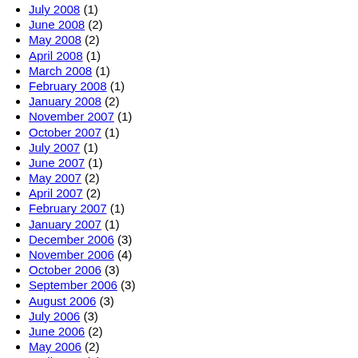July 2008 (1)
June 2008 (2)
May 2008 (2)
April 2008 (1)
March 2008 (1)
February 2008 (1)
January 2008 (2)
November 2007 (1)
October 2007 (1)
July 2007 (1)
June 2007 (1)
May 2007 (2)
April 2007 (2)
February 2007 (1)
January 2007 (1)
December 2006 (3)
November 2006 (4)
October 2006 (3)
September 2006 (3)
August 2006 (3)
July 2006 (3)
June 2006 (2)
May 2006 (2)
April 2006 (1)
January 2006 (1)